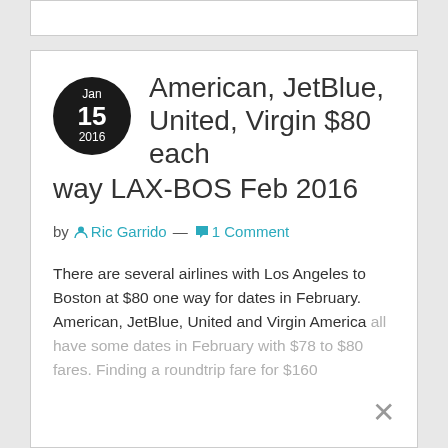American, JetBlue, United, Virgin $80 each way LAX-BOS Feb 2016
by Ric Garrido — 1 Comment
There are several airlines with Los Angeles to Boston at $80 one way for dates in February. American, JetBlue, United and Virgin America all have some dates in February with $78 to $80 fares. Finding a roundtrip fare for $160